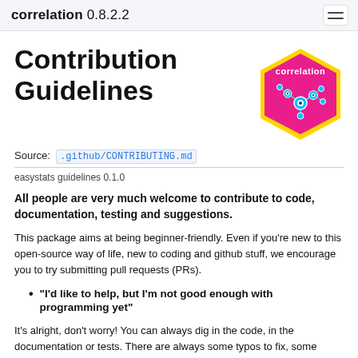correlation 0.8.2.2
Contribution Guidelines
[Figure (logo): Hexagonal logo with magenta/pink background and yellow border, showing the word 'correlation' in white text and a network/graph diagram with nodes and connections in cyan/blue on pink background]
Source: .github/CONTRIBUTING.md
easystats guidelines 0.1.0
All people are very much welcome to contribute to code, documentation, testing and suggestions.
This package aims at being beginner-friendly. Even if you're new to this open-source way of life, new to coding and github stuff, we encourage you to try submitting pull requests (PRs).
“I’d like to help, but I’m not good enough with programming yet”
It’s alright, don’t worry! You can always dig in the code, in the documentation or tests. There are always some typos to fix, some